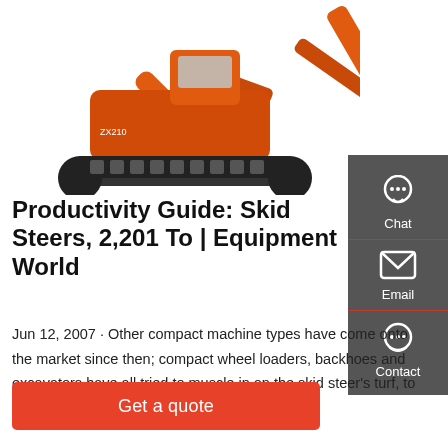[Figure (photo): Orange excavator/tracked construction machine on white background, arm raised with bucket at top right]
Productivity Guide: Skid Steers, 2,201 To | Equipment World
Jun 12, 2007 · Other compact machine types have come onto the market since then; compact wheel loaders, backhoes and excavators have all tried to muscle in on the skid steer's turf, to little avail.
[Figure (infographic): Dark grey sidebar with Chat, Email, and Contact icon buttons]
Get a quote